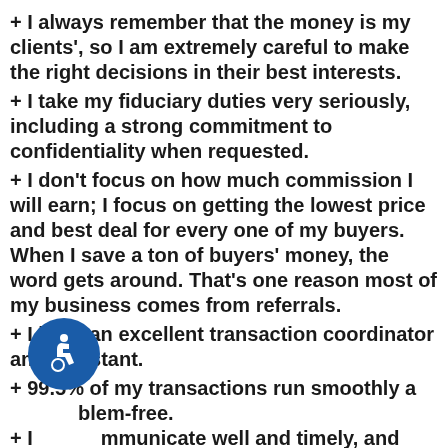+ I always remember that the money is my clients', so I am extremely careful to make the right decisions in their best interests.
+ I take my fiduciary duties very seriously, including a strong commitment to confidentiality when requested.
+ I don't focus on how much commission I will earn; I focus on getting the lowest price and best deal for every one of my buyers. When I save a ton of buyers' money, the word gets around. That's one reason most of my business comes from referrals.
+ I have an excellent transaction coordinator and assistant.
+ 99.5% of my transactions run smoothly and problem-free.
+ I communicate well and timely, and return calls, texts, and emails promptly. I never leave a